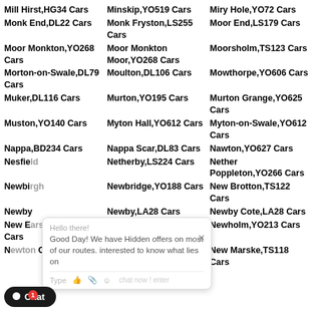Mill Hirst,HG34 Cars
Minskip,YO519 Cars
Miry Hole,YO72 Cars
Monk End,DL22 Cars
Monk Fryston,LS255 Cars
Moor End,LS179 Cars
Moor Monkton,YO268 Cars
Moor Monkton Moor,YO268 Cars
Moorsholm,TS123 Cars
Morton-on-Swale,DL79 Cars
Moulton,DL106 Cars
Mowthorpe,YO606 Cars
Muker,DL116 Cars
Murton,YO195 Cars
Murton Grange,YO625 Cars
Muston,YO140 Cars
Myton Hall,YO612 Cars
Myton-on-Swale,YO612 Cars
Nappa,BD234 Cars
Nappa Scar,DL83 Cars
Nawton,YO627 Cars
Nesfie[ld] Cars
Netherby,LS224 Cars
Nether Poppleton,YO266 Cars
Newbi[rgh] Cars
Newbridge,YO188 Cars
New Brotton,TS122 Cars
Newby Cars
Newby,LA28 Cars
Newby Cote,LA28 Cars
New E[arswick] Cars
Newhay,YO86 Cars
Newholm,YO213 Cars
N[ewton] O88 Cars
Newlands,YO126 Cars
New Marske,TS118 Cars